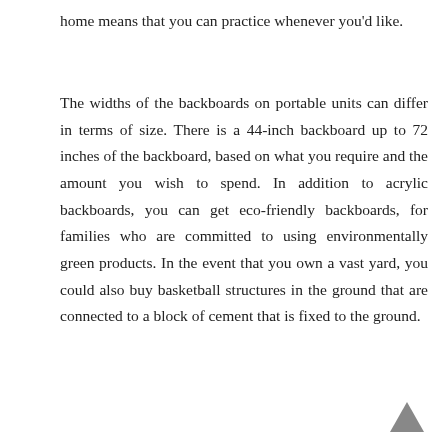home means that you can practice whenever you'd like.
The widths of the backboards on portable units can differ in terms of size. There is a 44-inch backboard up to 72 inches of the backboard, based on what you require and the amount you wish to spend. In addition to acrylic backboards, you can get eco-friendly backboards, for families who are committed to using environmentally green products. In the event that you own a vast yard, you could also buy basketball structures in the ground that are connected to a block of cement that is fixed to the ground.